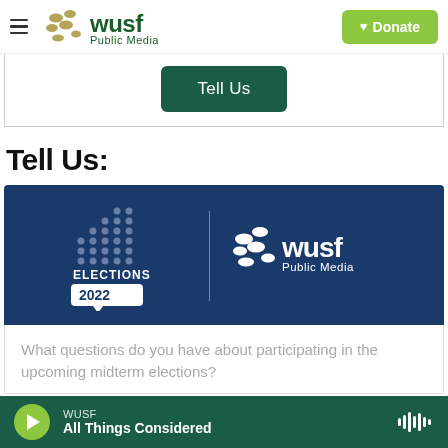WUSF Public Media — Donate
[Figure (logo): WUSF Public Media logo with green Donate button]
[Figure (screenshot): Green Tell Us button on white background]
Tell Us:
[Figure (logo): Elections 2022 and WUSF Public Media branding on dark blue background]
What questions do you have about participating in the upcoming midterm elections?
WUSF — All Things Considered